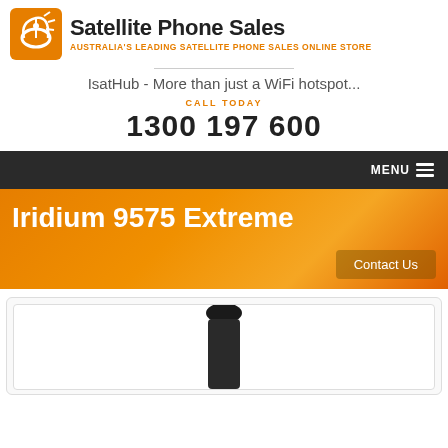[Figure (logo): Satellite Phone Sales logo with orange satellite dish icon and company name text]
IsatHub - More than just a WiFi hotspot...
CALL TODAY
1300 197 600
MENU
Iridium 9575 Extreme
Contact Us
[Figure (photo): Partial view of an Iridium 9575 Extreme satellite phone, showing the top portion with antenna]